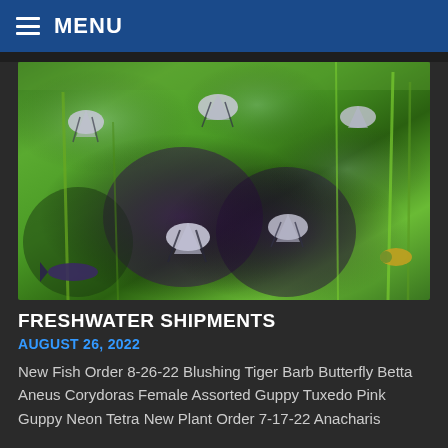MENU
[Figure (photo): Aquarium photo showing multiple angelfish swimming among dense green aquatic plants with dark purple/black background elements]
FRESHWATER SHIPMENTS
AUGUST 26, 2022
New Fish Order 8-26-22 Blushing Tiger Barb Butterfly Betta Aneus Corydoras Female Assorted Guppy Tuxedo Pink Guppy Neon Tetra New Plant Order 7-17-22 Anacharis